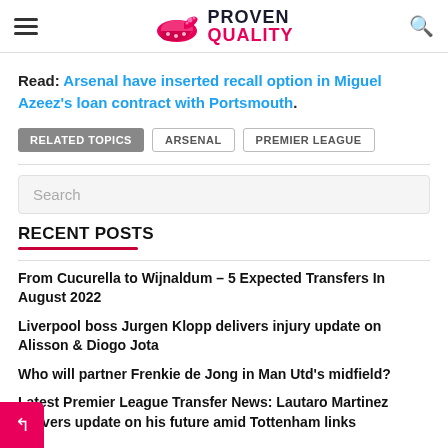Proven Quality
Read: Arsenal have inserted recall option in Miguel Azeez's loan contract with Portsmouth.
RELATED TOPICS  ARSENAL  PREMIER LEAGUE
Search
RECENT POSTS
From Cucurella to Wijnaldum – 5 Expected Transfers In August 2022
Liverpool boss Jurgen Klopp delivers injury update on Alisson & Diogo Jota
Who will partner Frenkie de Jong in Man Utd's midfield?
Latest Premier League Transfer News: Lautaro Martinez delivers update on his future amid Tottenham links